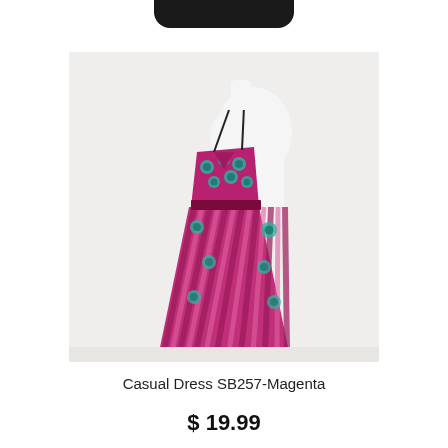[Figure (photo): A magenta/pink pleated spaghetti-strap dress with turquoise peacock feather print embellishments, displayed on a white mannequin against a light background.]
Casual Dress SB257-Magenta
$ 19.99